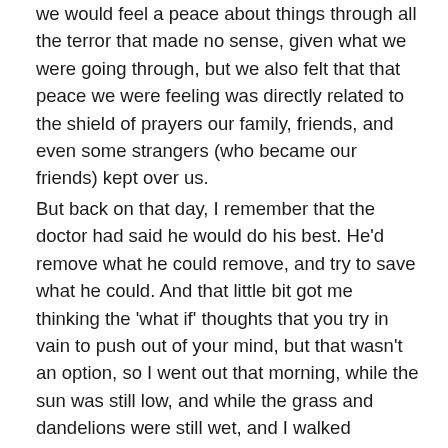we would feel a peace about things through all the terror that made no sense, given what we were going through, but we also felt that that peace we were feeling was directly related to the shield of prayers our family, friends, and even some strangers (who became our friends) kept over us.
But back on that day, I remember that the doctor had said he would do his best. He'd remove what he could remove, and try to save what he could. And that little bit got me thinking the 'what if' thoughts that you try in vain to push out of your mind, but that wasn't an option, so I went out that morning, while the sun was still low, and while the grass and dandelions were still wet, and I walked barefoot in the grass – trying to imprint that feeling, that memory into my mind, because I wasn't sure I'd be able to repeat that when I came back.